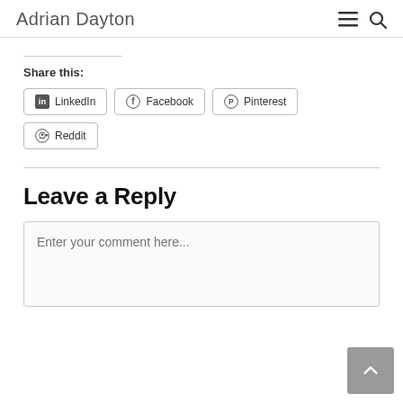Adrian Dayton
Share this:
LinkedIn  Facebook  Pinterest  Reddit
Leave a Reply
Enter your comment here...